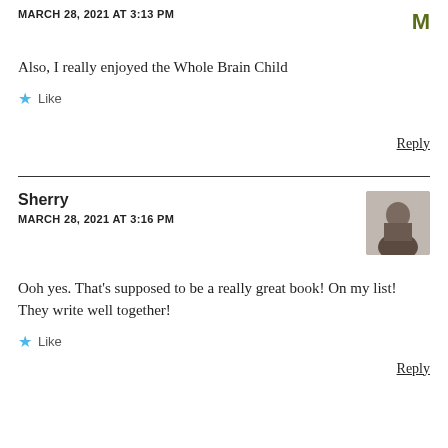MARCH 28, 2021 AT 3:13 PM
Also, I really enjoyed the Whole Brain Child
Like
Reply
Sherry
MARCH 28, 2021 AT 3:16 PM
Ooh yes. That's supposed to be a really great book! On my list! They write well together!
Like
Reply